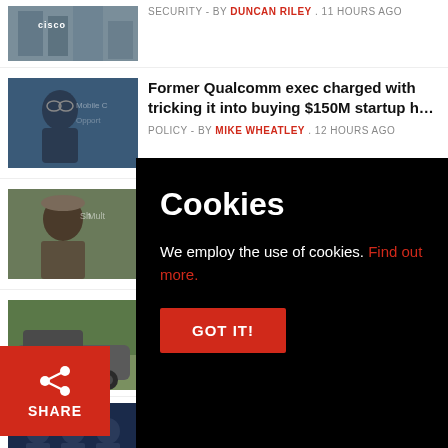[Figure (screenshot): News feed screenshot showing article thumbnails and headlines with a cookie consent overlay]
SECURITY - BY DUNCAN RILEY . 11 HOURS AGO
Former Qualcomm exec charged with tricking it into buying $150M startup h...
POLICY - BY MIKE WHEATLEY . 12 HOURS AGO
Expensify's earnings and revenue miss sends its stock down after-hours
CLOUD - BY MIKE WHEATLEY . 12 HOURS AGO
Rivian shipped more electric cars...
Cookies
We employ the use of cookies. Find out more.
GOT IT!
SHARE